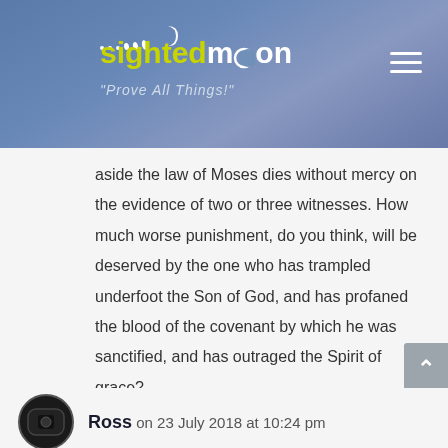sightedmoon — "Prove All Things!"
aside the law of Moses dies without mercy on the evidence of two or three witnesses. How much worse punishment, do you think, will be deserved by the one who has trampled underfoot the Son of God, and has profaned the blood of the covenant by which he was sanctified, and has outraged the Spirit of grace?
Reply
Ross on 23 July 2018 at 10:24 pm